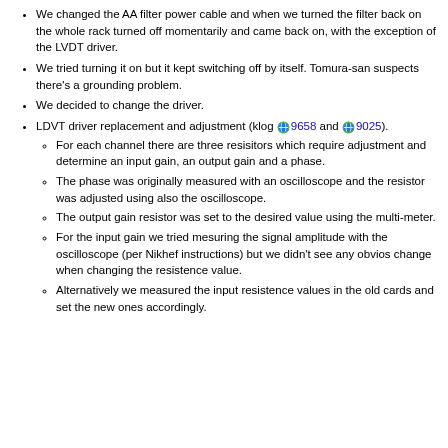We changed the AA filter power cable and when we turned the filter back on the whole rack turned off momentarily and came back on, with the exception of the LVDT driver.
We tried turning it on but it kept switching off by itself. Tomura-san suspects there's a grounding problem.
We decided to change the driver.
LDVT driver replacement and adjustment (klog 9658 and 9025).
For each channel there are three resisitors which require adjustment and determine an input gain, an output gain and a phase.
The phase was originally measured with an oscilloscope and the resistor was adjusted using also the oscilloscope.
The output gain resistor was set to the desired value using the multi-meter.
For the input gain we tried mesuring the signal amplitude with the oscilloscope (per Nikhef instructions) but we didn't see any obvios change when changing the resistence value.
Alternatively we measured the input resistence values in the old cards and set the new ones accordingly.